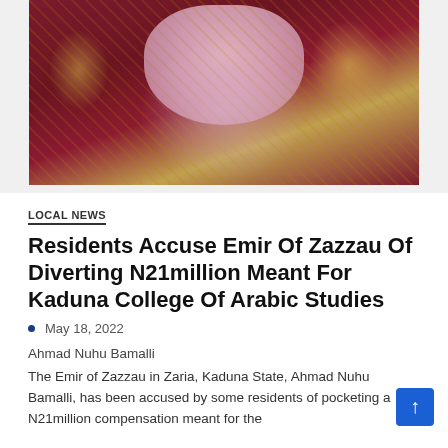[Figure (photo): A person wearing traditional Nigerian attire with dark maroon/burgundy fabric with gold embroidery and a pink floral headscarf/hijab]
LOCAL NEWS
Residents Accuse Emir Of Zazzau Of Diverting N21million Meant For Kaduna College Of Arabic Studies
May 18, 2022
Ahmad Nuhu Bamalli
The Emir of Zazzau in Zaria, Kaduna State, Ahmad Nuhu Bamalli, has been accused by some residents of pocketing a N21million compensation meant for the